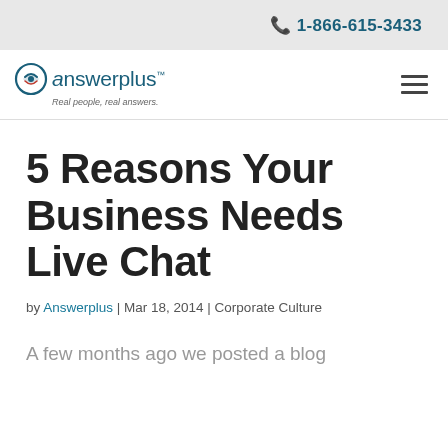1-866-615-3433
[Figure (logo): Answerplus logo with tagline 'Real people, real answers.']
5 Reasons Your Business Needs Live Chat
by Answerplus | Mar 18, 2014 | Corporate Culture
A few months ago we posted a blog